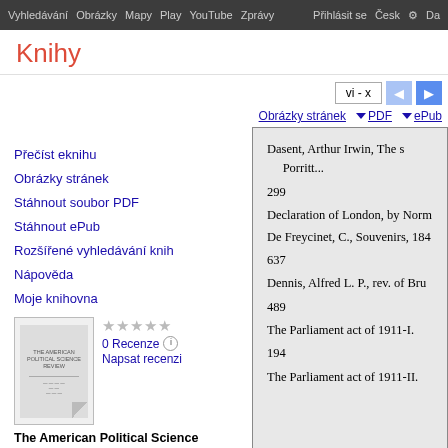Vyhledávání  Obrázky  Mapy  Play  YouTube  Zprávy  Přihlásit se  Česk  Da
Knihy
vi - x
Obrázky stránek    PDF    ePub
Přečíst eknihu
Obrázky stránek
Stáhnout soubor PDF
Stáhnout ePub
Rozšířené vyhledávání knih
Nápověda
Moje knihovna
[Figure (illustration): Book cover thumbnail for The American Political Science Review, Svazek 6]
0 Recenze
Napsat recenzi
The American Political Science Review, Svazek 6
Dasent, Arthur Irwin, The s
  Porritt...
299
Declaration of London, by Norm
De Freycinet, C., Souvenirs, 184
637
Dennis, Alfred L. P., rev. of Bru
489
The Parliament act of 1911-I.
194
The Parliament act of 1911-II.